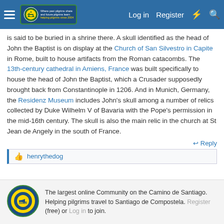Forum header navigation bar with logo, Log in, Register, and search icons
is said to be buried in a shrine there. A skull identified as the head of John the Baptist is on display at the Church of San Silvestro in Capite in Rome, built to house artifacts from the Roman catacombs. The 13th-century cathedral in Amiens, France was built specifically to house the head of John the Baptist, which a Crusader supposedly brought back from Constantinople in 1206. And in Munich, Germany, the Residenz Museum includes John's skull among a number of relics collected by Duke Wilhelm V of Bavaria with the Pope's permission in the mid-16th century. The skull is also the main relic in the church at St Jean de Angely in the south of France.
Reply
henrythedog
The largest online Community on the Camino de Santiago. Helping pilgrims travel to Santiago de Compostela. Register (free) or Log in to join.